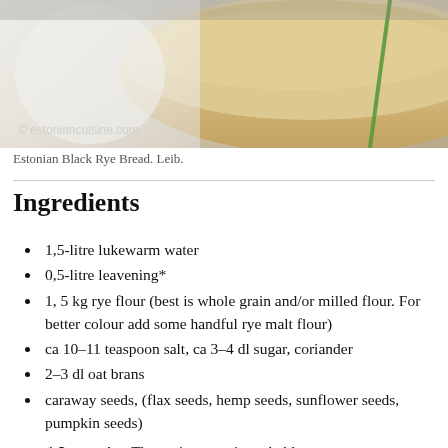[Figure (photo): Close-up photo of Estonian Black Rye Bread (Leib) with watermark '© estoniancuisine.com']
Estonian Black Rye Bread. Leib.
Ingredients
1,5-litre lukewarm water
0,5-litre leavening*
1, 5 kg rye flour (best is whole grain and/or milled flour. For better colour add some handful rye malt flour)
ca 10-11 teaspoon salt, ca 3-4 dl sugar, coriander
2-3 dl oat brans
caraway seeds, (flax seeds, hemp seeds, sunflower seeds, pumpkin seeds)
* Leavening The easiest way is probably to find local Estonian and ask her. Second